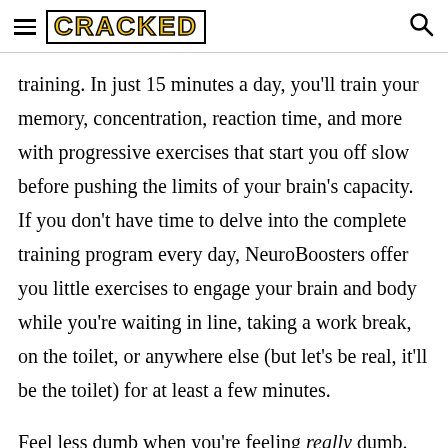CRACKED
training. In just 15 minutes a day, you'll train your memory, concentration, reaction time, and more with progressive exercises that start you off slow before pushing the limits of your brain's capacity. If you don't have time to delve into the complete training program every day, NeuroBoosters offer you little exercises to engage your brain and body while you're waiting in line, taking a work break, on the toilet, or anywhere else (but let's be real, it'll be the toilet) for at least a few minutes.
Feel less dumb when you're feeling really dumb.